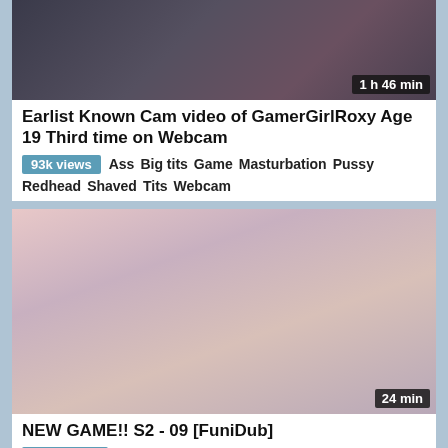[Figure (screenshot): Video thumbnail for cam video, duration badge '1 h 46 min']
Earlist Known Cam video of GamerGirlRoxy Age 19 Third time on Webcam
93k views  Ass  Big tits  Game  Masturbation  Pussy  Redhead  Shaved  Tits  Webcam
[Figure (screenshot): Anime video thumbnail, two anime girls, duration badge '24 min']
NEW GAME!! S2 - 09 [FuniDub]
428k views  Anime  Game  Hentai
[Figure (screenshot): Partial thumbnail, bottom of page, dark fantasy scene]